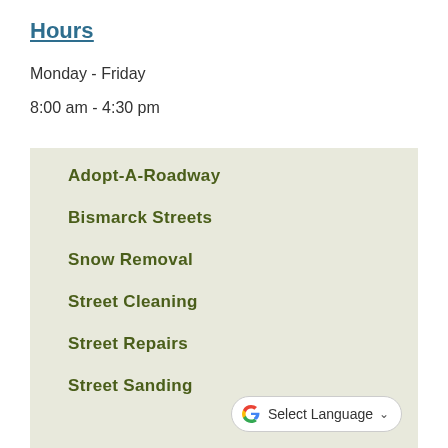Hours
Monday - Friday
8:00 am - 4:30 pm
Adopt-A-Roadway
Bismarck Streets
Snow Removal
Street Cleaning
Street Repairs
Street Sanding
[Figure (logo): Google Translate button with G logo and 'Select Language' dropdown]